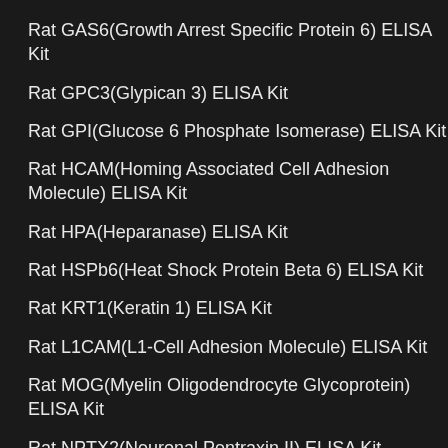Rat GAS6(Growth Arrest Specific Protein 6) ELISA Kit
Rat GPC3(Glypican 3) ELISA Kit
Rat GPI(Glucose 6 Phosphate Isomerase) ELISA Kit
Rat HCAM(Homing Associated Cell Adhesion Molecule) ELISA Kit
Rat HPA(Heparanase) ELISA Kit
Rat HSPb6(Heat Shock Protein Beta 6) ELISA Kit
Rat KRT1(Keratin 1) ELISA Kit
Rat L1CAM(L1-Cell Adhesion Molecule) ELISA Kit
Rat MOG(Myelin Oligodendrocyte Glycoprotein) ELISA Kit
Rat NPTX2(Neuronal Pentraxin II) ELISA Kit
Rat PCK1(Phosphoenolpyruvate Carboxykinase 1